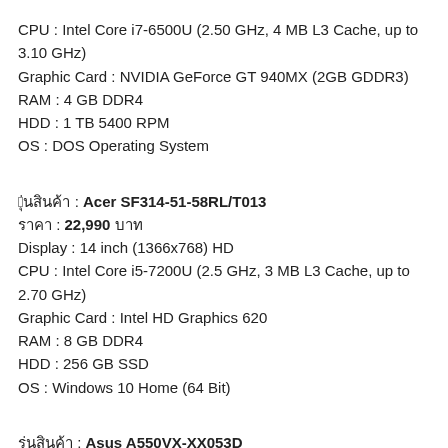CPU : Intel Core i7-6500U (2.50 GHz, 4 MB L3 Cache, up to 3.10 GHz)
Graphic Card : NVIDIA GeForce GT 940MX (2GB GDDR3)
RAM : 4 GB DDR4
HDD : 1 TB 5400 RPM
OS : DOS Operating System
รุ่นสินค้า : Acer SF314-51-58RL/T013
ราคา : 22,990 บาท
Display : 14 inch (1366x768) HD
CPU : Intel Core i5-7200U (2.5 GHz, 3 MB L3 Cache, up to 2.70 GHz)
Graphic Card : Intel HD Graphics 620
RAM : 8 GB DDR4
HDD : 256 GB SSD
OS : Windows 10 Home (64 Bit)
รุ่นสินค้า : Asus A550VX-XX053D